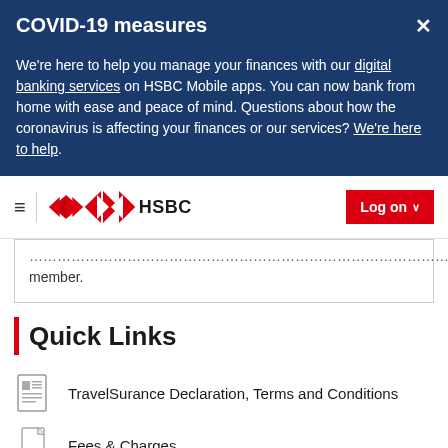COVID-19 measures
We're here to help you manage your finances with our digital banking services on HSBC Mobile apps. You can now bank from home with ease and peace of mind. Questions about how the coronavirus is affecting your finances or our services? We're here to help.
[Figure (logo): HSBC logo with red diamond hexagon shape and HSBC text, plus navigation hamburger menu and Log on button]
member.
Quick Links
TravelSurance Declaration, Terms and Conditions
Fees & Charges
Forms and documents